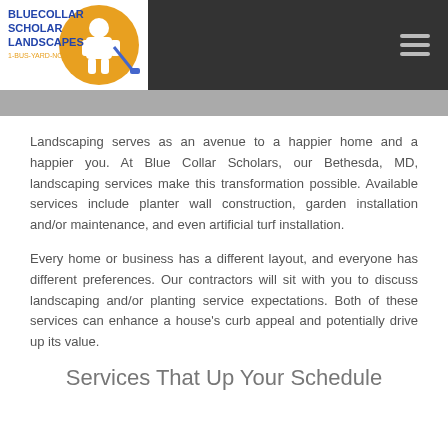Blue Collar Scholar Landscapes - navigation header
Landscaping serves as an avenue to a happier home and a happier you. At Blue Collar Scholars, our Bethesda, MD, landscaping services make this transformation possible. Available services include planter wall construction, garden installation and/or maintenance, and even artificial turf installation.
Every home or business has a different layout, and everyone has different preferences. Our contractors will sit with you to discuss landscaping and/or planting service expectations. Both of these services can enhance a house's curb appeal and potentially drive up its value.
Services That Up Your Schedule